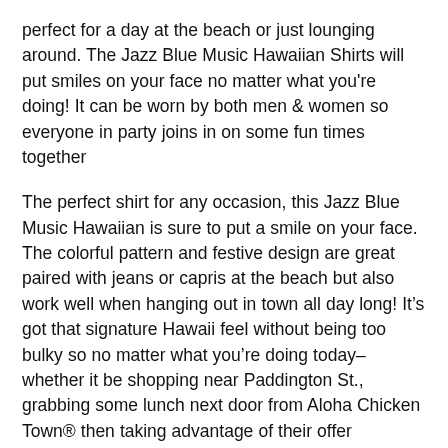perfect for a day at the beach or just lounging around. The Jazz Blue Music Hawaiian Shirts will put smiles on your face no matter what you're doing! It can be worn by both men & women so everyone in party joins in on some fun times together
The perfect shirt for any occasion, this Jazz Blue Music Hawaiian is sure to put a smile on your face. The colorful pattern and festive design are great paired with jeans or capris at the beach but also work well when hanging out in town all day long! It's got that signature Hawaii feel without being too bulky so no matter what you're doing today–whether it be shopping near Paddington St., grabbing some lunch next door from Aloha Chicken Town® then taking advantage of their offer
We all need a little more fun in our lives, don't we? Well this Jazz Blue Music Hawaiian shirt will bring the island vibes straight to your door! With its colorful pattern and festive